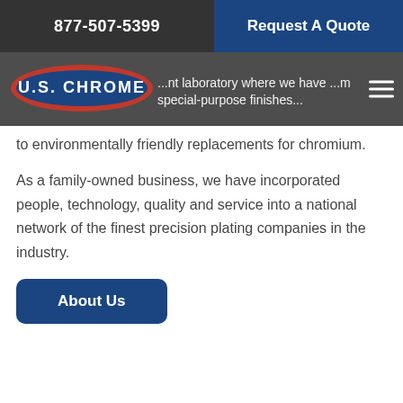877-507-5399 | Request A Quote
[Figure (logo): U.S. Chrome company logo — oval badge with red, white and blue colors, text 'U.S. CHROME' in white on blue background]
...nt laboratory where we have ...m special-purpose finishes... to environmentally friendly replacements for chromium.
As a family-owned business, we have incorporated people, technology, quality and service into a national network of the finest precision plating companies in the industry.
About Us